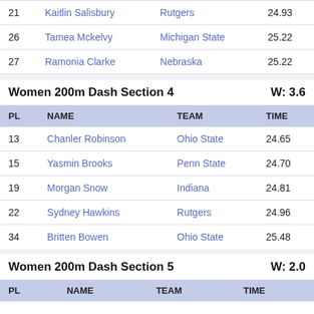| PL | NAME | TEAM | TIME |
| --- | --- | --- | --- |
| 21 | Kaitlin Salisbury | Rutgers | 24.93 |
| 26 | Tamea Mckelvy | Michigan State | 25.22 |
| 27 | Ramonia Clarke | Nebraska | 25.22 |
Women 200m Dash Section 4   W: 3.6
| PL | NAME | TEAM | TIME |
| --- | --- | --- | --- |
| 13 | Chanler Robinson | Ohio State | 24.65 |
| 15 | Yasmin Brooks | Penn State | 24.70 |
| 19 | Morgan Snow | Indiana | 24.81 |
| 22 | Sydney Hawkins | Rutgers | 24.96 |
| 34 | Britten Bowen | Ohio State | 25.48 |
Women 200m Dash Section 5   W: 2.0
| PL | NAME | TEAM | TIME |
| --- | --- | --- | --- |